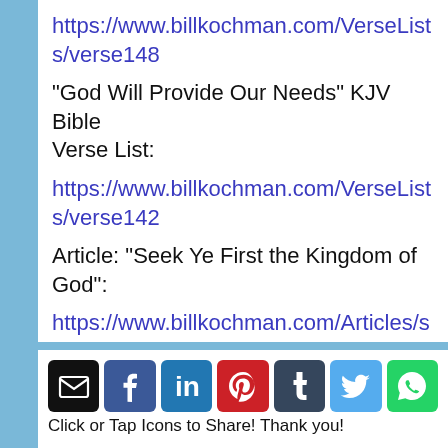https://www.billkochman.com/VerseLists/verse148
"God Will Provide Our Needs" KJV Bible Verse List:
https://www.billkochman.com/VerseLists/verse142
Article: "Seek Ye First the Kingdom of God":
https://www.billkochman.com/Articles/seek1st1.ht
"Worldliness" KJV Bible Verse List:
https://www.billkochman.com/VerseLists/verse078
Click or Tap Icons to Share! Thank you!